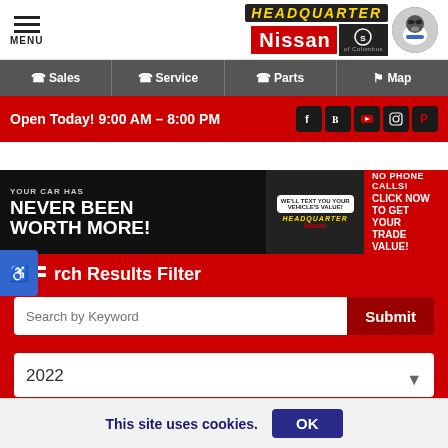MENU | HEADQUARTER Nissan of Columbus
☎ Sales  ☎ Service  ☎ Parts  ⊙ Map
Open Today! 9:00 AM – 8:00 PM
[Figure (infographic): Advertisement banner: YOUR CAR HAS NEVER BEEN WORTH MORE! WE'LL TEXT YOU YOUR VEHICLE'S VALUE! NO PHONE CALLS! CLICK NOW TO GET YOUR TRADE VALUE!]
Search Results Filter
Search by Keyword
2022
This site uses cookies.  OK